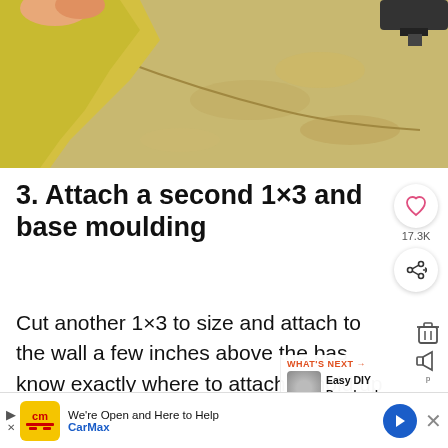[Figure (photo): Close-up photo of a hand holding yellow material near floor/wall junction, with a dark tool visible at top right]
3. Attach a second 1×3 and base moulding
Cut another 1×3 to size and attach to the wall a few inches above the bas[e]... know exactly where to attach it, hold up
[Figure (infographic): UI overlay: heart button showing 17.3K likes, share button, What's Next thumbnail for Easy DIY Board and...]
[Figure (infographic): Advertisement bar: CarMax - We're Open and Here to Help, with arrow navigation and close button]